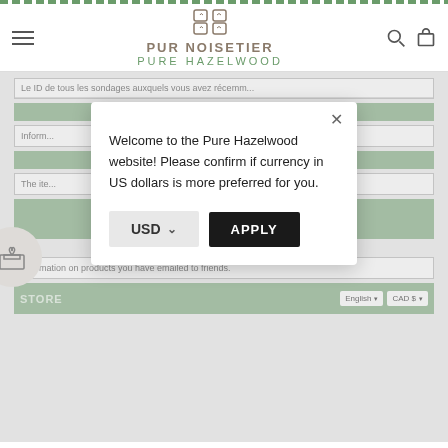PUR NOISETIER / PURE HAZELWOOD
Le ID de tous les sondages auxquels vous avez récemm...
Inform...
[Figure (screenshot): Modal dialog on Pure Hazelwood e-commerce website asking to confirm USD currency preference, with USD dropdown and APPLY button]
The ite...
STF
Information on products you have emailed to friends.
STORE
English  CAD $